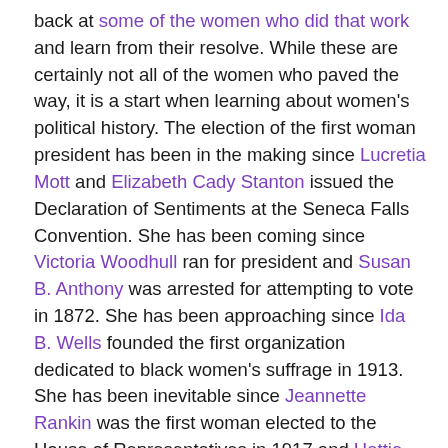back at some of the women who did that work and learn from their resolve. While these are certainly not all of the women who paved the way, it is a start when learning about women's political history. The election of the first woman president has been in the making since Lucretia Mott and Elizabeth Cady Stanton issued the Declaration of Sentiments at the Seneca Falls Convention. She has been coming since Victoria Woodhull ran for president and Susan B. Anthony was arrested for attempting to vote in 1872. She has been approaching since Ida B. Wells founded the first organization dedicated to black women's suffrage in 1913. She has been inevitable since Jeannette Rankin was the first woman elected to the House of Representatives in 1917 and Hattie Caraway was the first woman elected to the Senate in 1932.